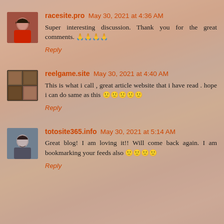racesite.pro May 30, 2021 at 4:36 AM
Super interesting discussion. Thank you for the great comments. 🙏🙏🙏🙏
Reply
reelgame.site May 30, 2021 at 4:40 AM
This is what i call , great article website that i have read . hope i can do same as this 🙂🙂🙂🙂🙂
Reply
totosite365.info May 30, 2021 at 5:14 AM
Great blog! I am loving it!! Will come back again. I am bookmarking your feeds also 🙂🙂🙂🙂
Reply